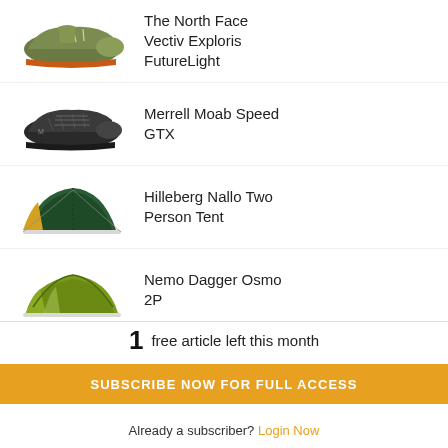[Figure (photo): The North Face Vectiv Exploris FutureLight hiking shoe, green/olive color with orange sole accents]
The North Face Vectiv Exploris FutureLight
[Figure (photo): Merrell Moab Speed GTX hiking shoe, dark grey/black color]
Merrell Moab Speed GTX
[Figure (photo): Hilleberg Nallo Two Person Tent, dark green with yellow vestibule]
Hilleberg Nallo Two Person Tent
[Figure (photo): Nemo Dagger Osmo 2P tent, olive/lime green color]
Nemo Dagger Osmo 2P
[Figure (photo): Sea to Summit Telos TR2 tent, light green with grey floor]
Sea to Summit Telos TR2
[Figure (photo): The North Face Dryzzle FutureLight jacket, olive/tan hooded rain jacket]
The North Face Dryzzle FutureLight
1 free article left this month
SUBSCRIBE NOW FOR FULL ACCESS
Already a subscriber? Login Now